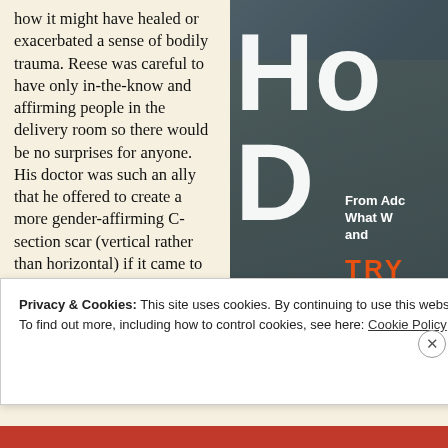how it might have healed or exacerbated a sense of bodily trauma. Reese was careful to have only in-the-know and affirming people in the delivery room so there would be no surprises for anyone. His doctor was such an ally that he offered to create a more gender-affirming C-section scar (vertical rather than horizontal) if it came to it. How to maintain a sense of male identity while giving birth? Well,
[Figure (photo): Partially visible book cover advertisement showing a person in casual clothing, with large stylized white text 'Ho' and 'D' visible, subtitle text 'From Ado', 'What W', 'and', and orange text 'TRY' at bottom. Dark background.]
Privacy & Cookies: This site uses cookies. By continuing to use this website, you agree to their use.
To find out more, including how to control cookies, see here: Cookie Policy